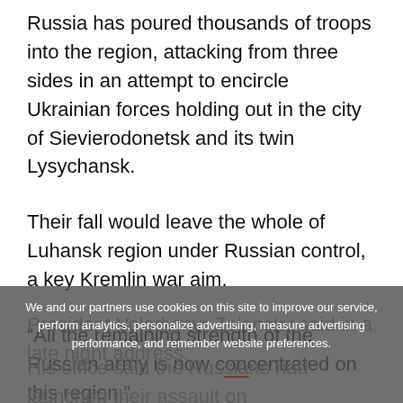Russia has poured thousands of troops into the region, attacking from three sides in an attempt to encircle Ukrainian forces holding out in the city of Sievierodonetsk and its twin Lysychansk.
Their fall would leave the whole of Luhansk region under Russian control, a key Kremlin war aim.
“All the remaining strength of the Russian army is now concentrated on this region,”
President Volodymyr Zelensky said in a late night address.
We and our partners use cookies on this site to improve our service, perform analytics, personalize advertising, measure advertising performance, and remember website preferences.
His office said the Russians had launched their assault on Sievierodonetsk early on